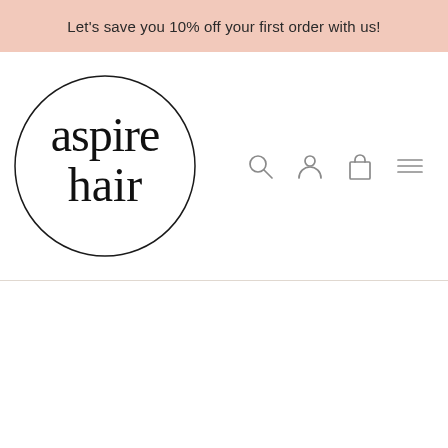Let's save you 10% off your first order with us!
[Figure (logo): Aspire Hair logo — circular border with stylized 'aspire hair' text in black serif/display font]
Navigation icons: search, account, cart, menu